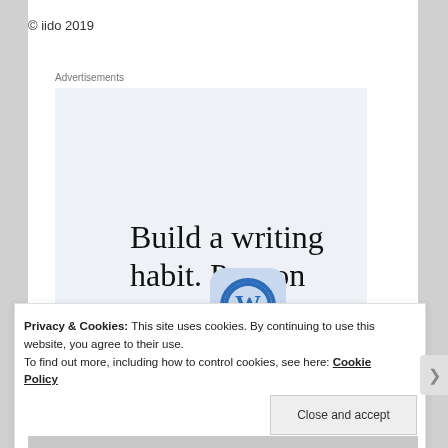© iido 2019
Advertisements
[Figure (infographic): WordPress advertisement: 'Build a writing habit. Post on the go.' with GET THE APP link and WordPress logo icon on light blue background]
Privacy & Cookies: This site uses cookies. By continuing to use this website, you agree to their use.
To find out more, including how to control cookies, see here: Cookie Policy
Close and accept